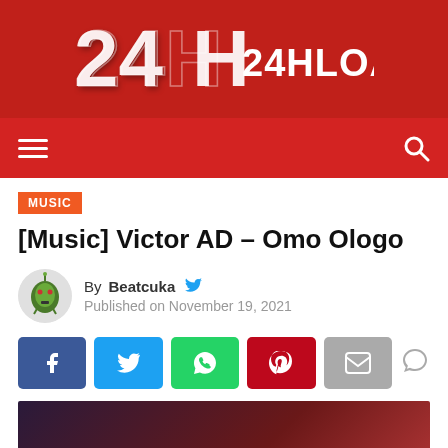[Figure (logo): 24HLOADED website logo — red banner with '24H' stylized icon and '24HLOADED' text in white]
[Figure (other): Red navigation bar with hamburger menu icon on left and search icon on right]
MUSIC
[Music] Victor AD – Omo Ologo
By Beatcuka  Published on November 19, 2021
[Figure (other): Social share buttons: Facebook (blue), Twitter (light blue), WhatsApp (green), Pinterest (red), Email (grey), and a comment bubble icon]
[Figure (photo): Partial article thumbnail image with dark gradient background (red/purple tones)]